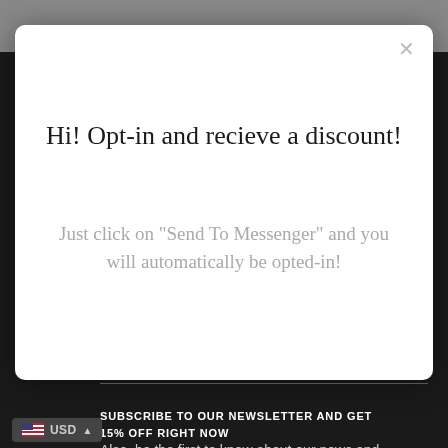Hi! Opt-in and recieve a discount!
Just click on "Send To Messenger" and you will automatically be opted-in!
SUBSCRIBE TO OUR NEWSLETTER AND GET 15% OFF RIGHT NOW
Also, be the first to know about our news and
USD